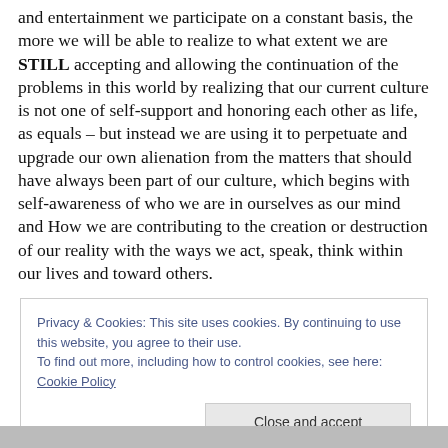and entertainment we participate on a constant basis, the more we will be able to realize to what extent we are STILL accepting and allowing the continuation of the problems in this world by realizing that our current culture is not one of self-support and honoring each other as life, as equals – but instead we are using it to perpetuate and upgrade our own alienation from the matters that should have always been part of our culture, which begins with self-awareness of who we are in ourselves as our mind and How we are contributing to the creation or destruction of our reality with the ways we act, speak, think within our lives and toward others.
Privacy & Cookies: This site uses cookies. By continuing to use this website, you agree to their use. To find out more, including how to control cookies, see here: Cookie Policy
[Figure (photo): Partial photo visible at the bottom of the page, showing what appears to be a person]